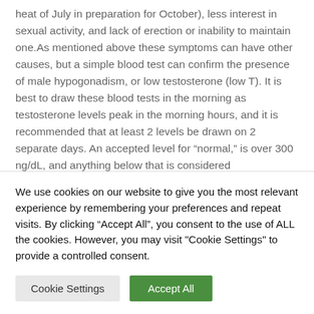heat of July in preparation for October), less interest in sexual activity, and lack of erection or inability to maintain one.As mentioned above these symptoms can have other causes, but a simple blood test can confirm the presence of male hypogonadism, or low testosterone (low T). It is best to draw these blood tests in the morning as testosterone levels peak in the morning hours, and it is recommended that at least 2 levels be drawn on 2 separate days. An accepted level for “normal,” is over 300 ng/dL, and anything below that is considered hypogonadism if it
We use cookies on our website to give you the most relevant experience by remembering your preferences and repeat visits. By clicking “Accept All”, you consent to the use of ALL the cookies. However, you may visit "Cookie Settings" to provide a controlled consent.